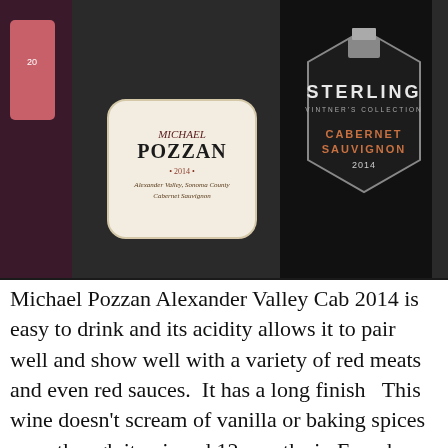[Figure (photo): Two wine bottle labels side by side. Left: Michael Pozzan, 2014, Alexander Valley, Sonoma County, Cabernet Sauvignon. Right: Sterling Vintner's Collection, Cabernet Sauvignon, 2014, dark hexagonal label.]
Michael Pozzan Alexander Valley Cab 2014 is easy to drink and its acidity allows it to pair well and show well with a variety of red meats and even red sauces.  It has a long finish   This wine doesn't scream of vanilla or baking spices even though it enjoyed 12 months in French Oak..  It's around town for $15ish. That's a good deal compared to Silver Oak which also hails from Alexander Valley.